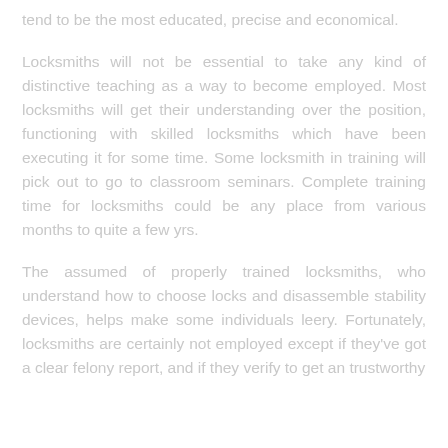tend to be the most educated, precise and economical.
Locksmiths will not be essential to take any kind of distinctive teaching as a way to become employed. Most locksmiths will get their understanding over the position, functioning with skilled locksmiths which have been executing it for some time. Some locksmith in training will pick out to go to classroom seminars. Complete training time for locksmiths could be any place from various months to quite a few yrs.
The assumed of properly trained locksmiths, who understand how to choose locks and disassemble stability devices, helps make some individuals leery. Fortunately, locksmiths are certainly not employed except if they've got a clear felony report, and if they verify to get an trustworthy